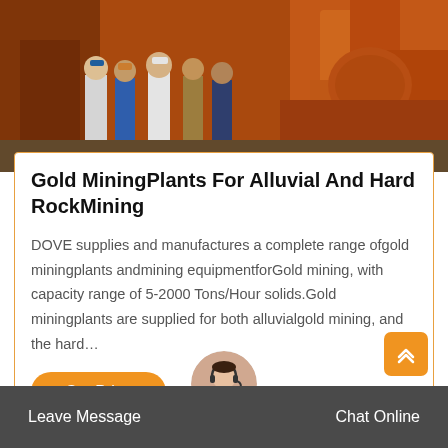[Figure (photo): Workers standing in front of large orange mining machinery/equipment]
Gold MiningPlants For Alluvial And Hard RockMining
DOVE supplies and manufactures a complete range ofgold miningplants andmining equipmentforGold mining, with capacity range of 5-2000 Tons/Hour solids.Gold miningplants are supplied for both alluvialgold mining, and the hard…
Get Price
Leave Message
Chat Online